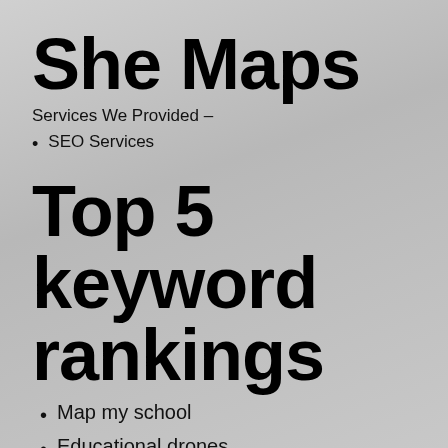She Maps
Services We Provided –
SEO Services
Top 5 keyword rankings
Map my school
Educational drones
Tournament of drones
Drone teaching resources
Drone activities for students